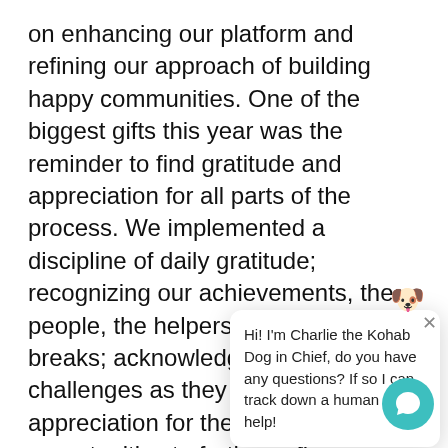on enhancing our platform and refining our approach of building happy communities. One of the biggest gifts this year was the reminder to find gratitude and appreciation for all parts of the process. We implemented a discipline of daily gratitude; recognizing our achievements, the people, the helpers, the lucky breaks; acknowledging the challenges as they came and finding appreciation for them as opportunities to further refine. Although... our personal peace, ... what allowed Kohab... new ideas to flow, a... paved the way for a... platform to launch. And, we felt at peace. We will continue to practice gratitude and offer appreciation beyond 2020. And we wish you the same, a sense of daily gratitude, peace, and contentment. Happy Thanksgiving from your...
[Figure (other): Chat popup overlay with dog emoji (Charlie the Kohab Dog in Chief) and message: 'Hi! I'm Charlie the Kohab Dog in Chief, do you have any questions? If so I can track down a human to help!' with a close X button and a teal chat bubble icon in the bottom right corner.]